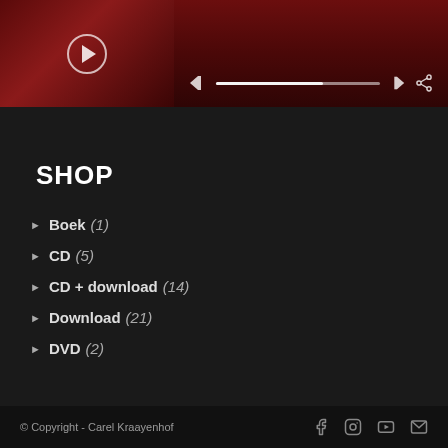[Figure (screenshot): Music player interface with thumbnail showing a dark red concert scene with a play button, and a dark red gradient player controls bar with prev/next buttons, progress bar, and share icon]
SHOP
Boek (1)
CD (5)
CD + download (14)
Download (21)
DVD (2)
© Copyright - Carel Kraayenhof